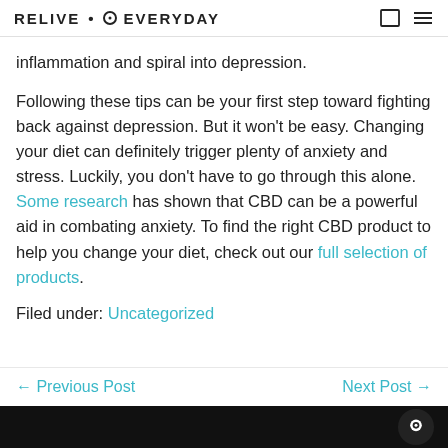RELIVE EVERYDAY
inflammation and spiral into depression.
Following these tips can be your first step toward fighting back against depression. But it won't be easy. Changing your diet can definitely trigger plenty of anxiety and stress. Luckily, you don't have to go through this alone. Some research has shown that CBD can be a powerful aid in combating anxiety. To find the right CBD product to help you change your diet, check out our full selection of products.
Filed under: Uncategorized
← Previous Post    Next Post →